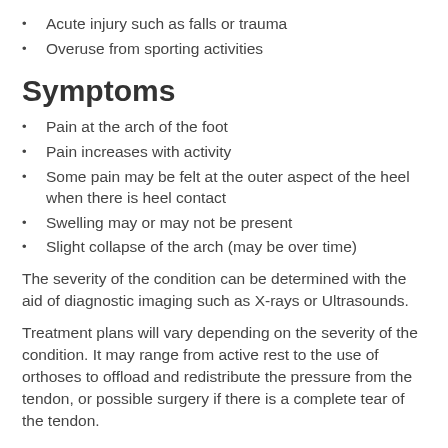Acute injury such as falls or trauma
Overuse from sporting activities
Symptoms
Pain at the arch of the foot
Pain increases with activity
Some pain may be felt at the outer aspect of the heel when there is heel contact
Swelling may or may not be present
Slight collapse of the arch (may be over time)
The severity of the condition can be determined with the aid of diagnostic imaging such as X-rays or Ultrasounds.
Treatment plans will vary depending on the severity of the condition. It may range from active rest to the use of orthoses to offload and redistribute the pressure from the tendon, or possible surgery if there is a complete tear of the tendon.